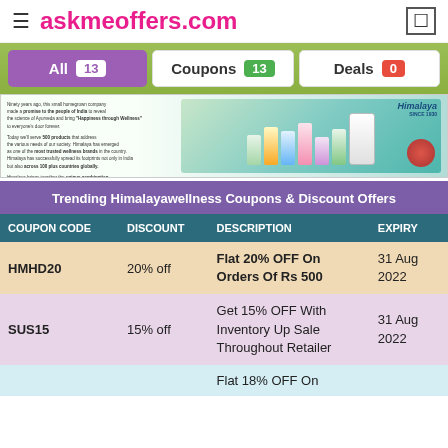askmeoffers.com
All 13 | Coupons 13 | Deals 0
[Figure (photo): Himalaya wellness product lineup with logo and brand text about Ayurveda heritage]
Trending Himalayawellness Coupons & Discount Offers
| COUPON CODE | DISCOUNT | DESCRIPTION | EXPIRY |
| --- | --- | --- | --- |
| HMHD20 | 20% off | Flat 20% OFF On Orders Of Rs 500 | 31 Aug 2022 |
| SUS15 | 15% off | Get 15% OFF With Inventory Up Sale Throughout Retailer | 31 Aug 2022 |
|  |  | Flat 18% OFF On |  |